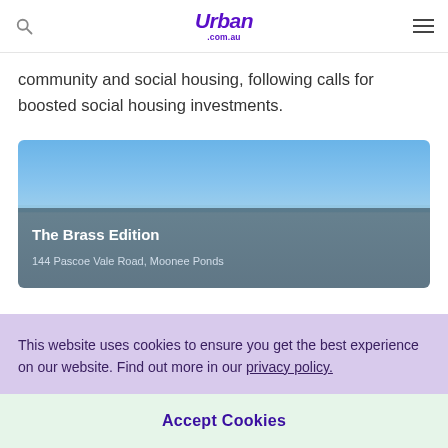Urban .com.au
community and social housing, following calls for boosted social housing investments.
[Figure (photo): Property card for The Brass Edition at 144 Pascoe Vale Road, Moonee Ponds. Shows a blue sky image at the top with a dark blue-grey overlay at the bottom containing the property title and address in white text.]
This website uses cookies to ensure you get the best experience on our website. Find out more in our privacy policy.
Accept Cookies